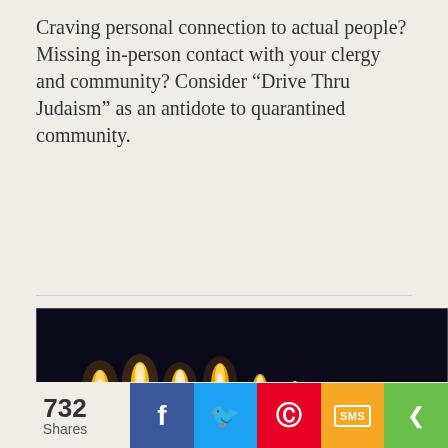Craving personal connection to actual people? Missing in-person contact with your clergy and community? Consider “Drive Thru Judaism” as an antidote to quarantined community.
[Figure (photo): Photo of lit Hanukkah menorah candles, blue and white candles with flames against a dark background, with a yellow/gold border at the bottom]
Hanukkah: From Battleground to
732 Shares